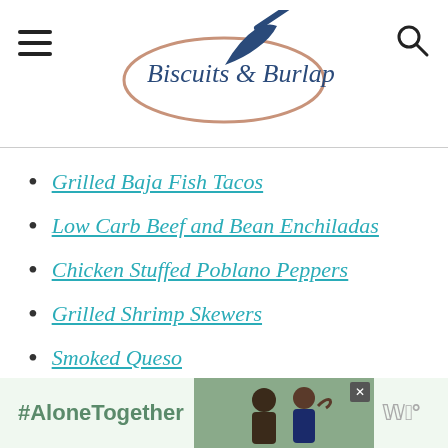Biscuits & Burlap
Grilled Baja Fish Tacos
Low Carb Beef and Bean Enchiladas
Chicken Stuffed Poblano Peppers
Grilled Shrimp Skewers
Smoked Queso
[Figure (screenshot): #AloneTogether advertisement banner with photo of two people smiling]